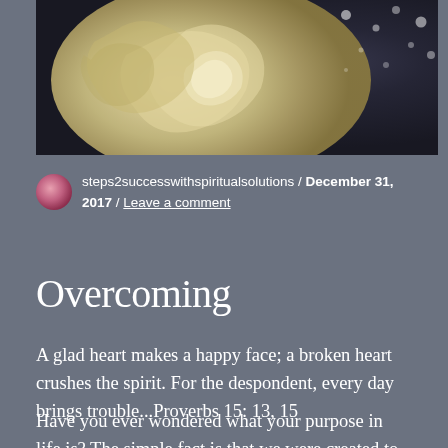[Figure (photo): A white/cream rose flower against a dark background with bokeh light spots]
steps2successwithspiritualsolutions / December 31, 2017 / Leave a comment
Overcoming
A glad heart makes a happy face; a broken heart crushes the spirit. For the despondent, every day brings trouble...Proverbs 15: 13, 15
Have you ever wondered what your purpose in life is? The simple fact is that we were created to fulfill God's purpose and His desires. When